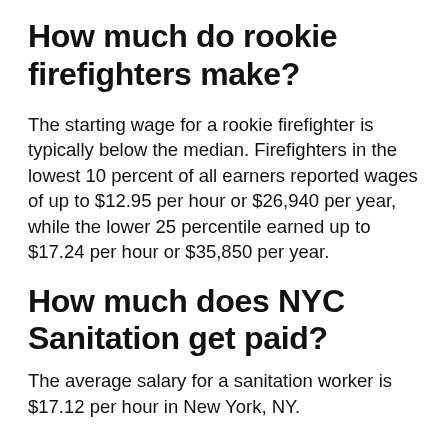How much do rookie firefighters make?
The starting wage for a rookie firefighter is typically below the median. Firefighters in the lowest 10 percent of all earners reported wages of up to $12.95 per hour or $26,940 per year, while the lower 25 percentile earned up to $17.24 per hour or $35,850 per year.
How much does NYC Sanitation get paid?
The average salary for a sanitation worker is $17.12 per hour in New York, NY.